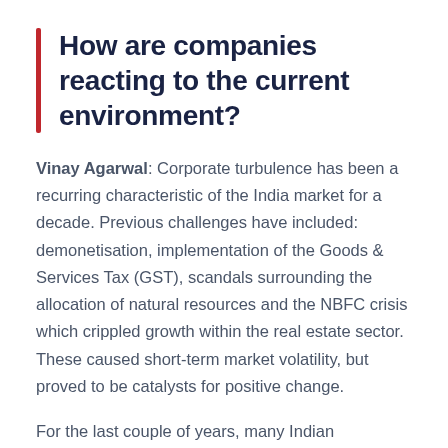How are companies reacting to the current environment?
Vinay Agarwal: Corporate turbulence has been a recurring characteristic of the India market for a decade. Previous challenges have included: demonetisation, implementation of the Goods & Services Tax (GST), scandals surrounding the allocation of natural resources and the NBFC crisis which crippled growth within the real estate sector. These caused short-term market volatility, but proved to be catalysts for positive change.
For the last couple of years, many Indian companies have moved into consolidation mode. Balance sheets have been strengthened and operating costs cut. Previous events further led to tightened government regulations. Again, a positive development as higher